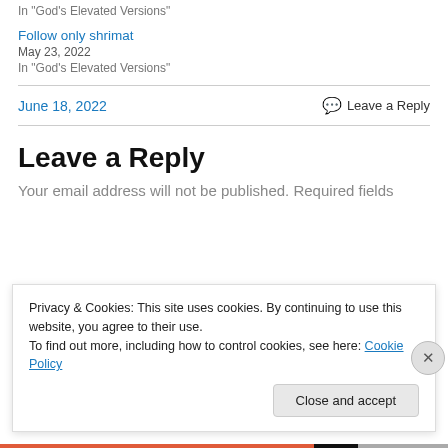In "God's Elevated Versions"
Follow only shrimat
May 23, 2022
In "God's Elevated Versions"
June 18, 2022
Leave a Reply
Leave a Reply
Your email address will not be published. Required fields
Privacy & Cookies: This site uses cookies. By continuing to use this website, you agree to their use.
To find out more, including how to control cookies, see here: Cookie Policy
Close and accept